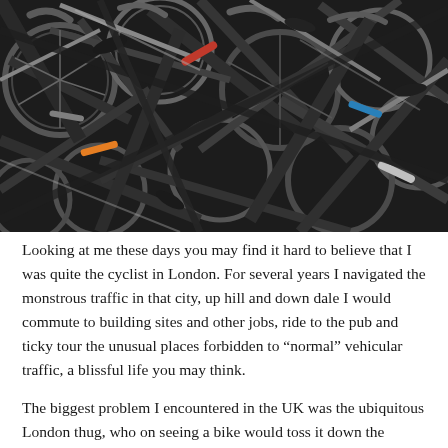[Figure (photo): A dense pile of many bicycles packed tightly together, showing handlebars, frames, wheels, and seats in a chaotic overlapping arrangement.]
Looking at me these days you may find it hard to believe that I was quite the cyclist in London. For several years I navigated the monstrous traffic in that city, up hill and down dale I would commute to building sites and other jobs, ride to the pub and ticky tour the unusual places forbidden to “normal” vehicular traffic, a blissful life you may think.
The biggest problem I encountered in the UK was the ubiquitous London thug, who on seeing a bike would toss it down the nearest railway embankment or in the nearest creek or canal, if you had the audacity to lock your bike up it would be bent beyond repair out of frustration and sheer anger at not being able to engage in the art of bicycle tossing.
I did try to do the same when I arrived in Auckland,